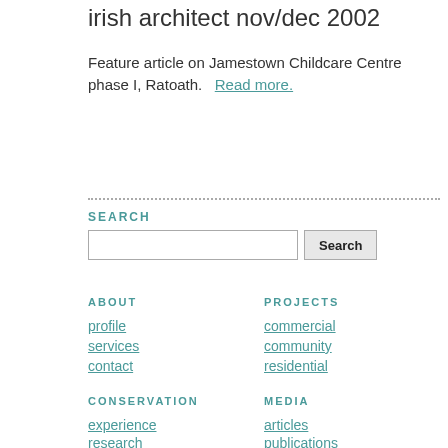irish architect nov/dec 2002
Feature article on Jamestown Childcare Centre phase I, Ratoath.   Read more.
SEARCH
ABOUT
PROJECTS
profile
commercial
services
community
contact
residential
CONSERVATION
MEDIA
experience
articles
research
publications